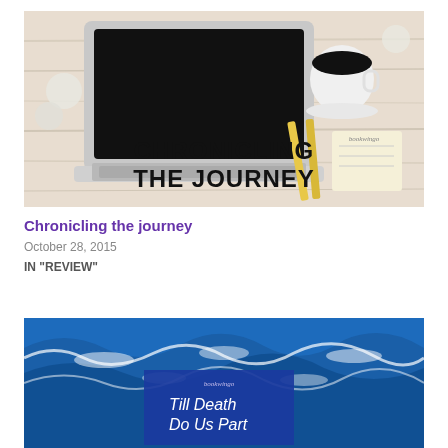[Figure (photo): Photo of a laptop, coffee cup, pencils, notepad on a wooden desk. Overlaid text reads 'CHRONICLING THE JOURNEY' in bold black letters.]
Chronicling the journey
October 28, 2015
IN "REVIEW"
[Figure (photo): Photo of ocean waves (blue water with whitecaps). Overlaid blue rectangle with white text reading 'Till Death Do Us Part' and small logo text 'bookwingo'.]